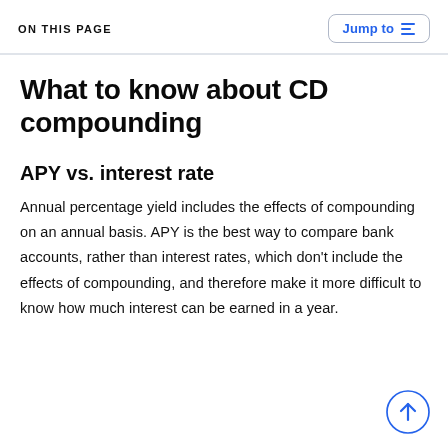ON THIS PAGE
What to know about CD compounding
APY vs. interest rate
Annual percentage yield includes the effects of compounding on an annual basis. APY is the best way to compare bank accounts, rather than interest rates, which don't include the effects of compounding, and therefore make it more difficult to know how much interest can be earned in a year.